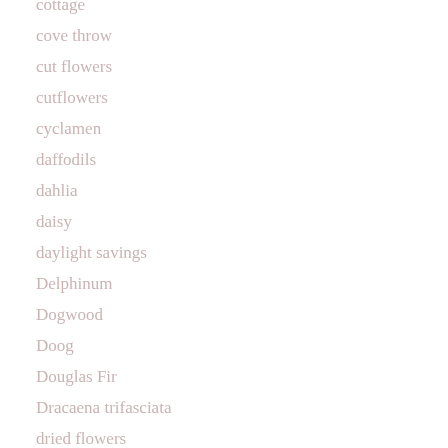cottage
cove throw
cut flowers
cutflowers
cyclamen
daffodils
dahlia
daisy
daylight savings
Delphinum
Dogwood
Doog
Douglas Fir
Dracaena trifasciata
dried flowers